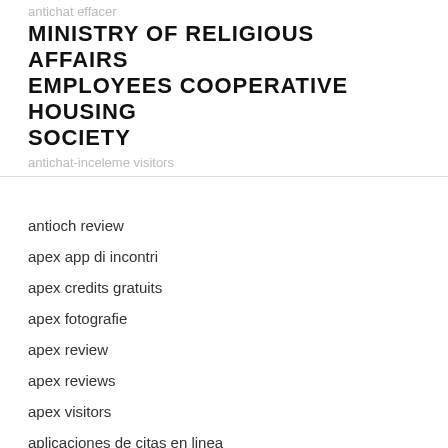antichat effacer
MINISTRY OF RELIGIOUS AFFAIRS EMPLOYEES COOPERATIVE HOUSING SOCIETY
antichat-inceleme visitors
antioch review
apex app di incontri
apex credits gratuits
apex fotografie
apex review
apex reviews
apex visitors
aplicaciones de citas en linea
app